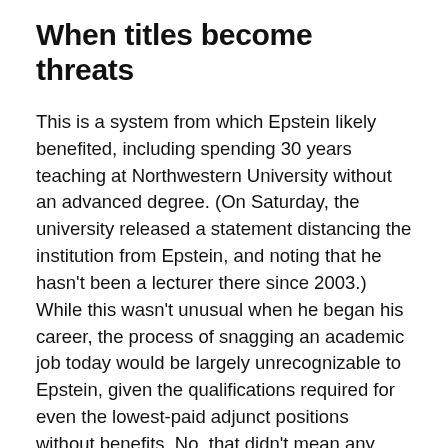When titles become threats
This is a system from which Epstein likely benefited, including spending 30 years teaching at Northwestern University without an advanced degree. (On Saturday, the university released a statement distancing the institution from Epstein, and noting that he hasn't been a lecturer there since 2003.) While this wasn't unusual when he began his career, the process of snagging an academic job today would be largely unrecognizable to Epstein, given the qualifications required for even the lowest-paid adjunct positions without benefits. No, that didn't mean any White